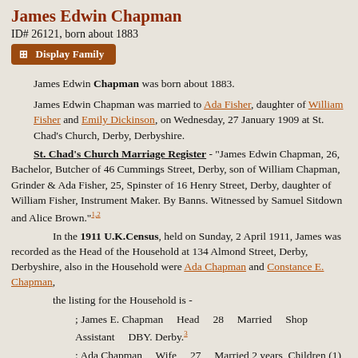James Edwin Chapman
ID# 26121, born about 1883
Display Family
James Edwin Chapman was born about 1883.
James Edwin Chapman was married to Ada Fisher, daughter of William Fisher and Emily Dickinson, on Wednesday, 27 January 1909 at St. Chad's Church, Derby, Derbyshire.
St. Chad's Church Marriage Register - "James Edwin Chapman, 26, Bachelor, Butcher of 46 Cummings Street, Derby, son of William Chapman, Grinder & Ada Fisher, 25, Spinster of 16 Henry Street, Derby, daughter of William Fisher, Instrument Maker. By Banns. Witnessed by Samuel Sitdown and Alice Brown."1,2
In the 1911 U.K.Census, held on Sunday, 2 April 1911, James was recorded as the Head of the Household at 134 Almond Street, Derby, Derbyshire, also in the Household were Ada Chapman and Constance E. Chapman,
the listing for the Household is -
; James E. Chapman    Head    28    Married    Shop Assistant    DBY. Derby.3
; Ada Chapman    Wife    27    Married 2 years, Children (1) (1) (0),    ---    DBY. Derby.3
; Constance E. Chapman    Daughter    11m    ---    DBY.